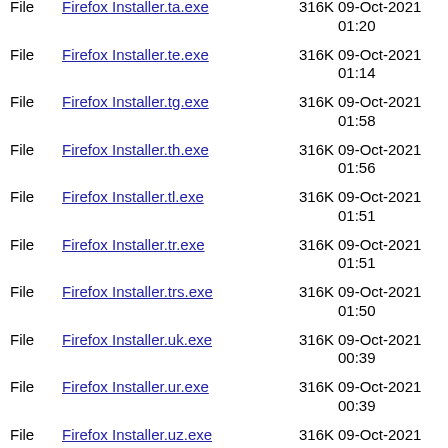File  Firefox Installer.ta.exe  316K  09-Oct-2021 01:20
File  Firefox Installer.te.exe  316K  09-Oct-2021 01:14
File  Firefox Installer.tg.exe  316K  09-Oct-2021 01:58
File  Firefox Installer.th.exe  316K  09-Oct-2021 01:56
File  Firefox Installer.tl.exe  316K  09-Oct-2021 01:51
File  Firefox Installer.tr.exe  316K  09-Oct-2021 01:51
File  Firefox Installer.trs.exe  316K  09-Oct-2021 01:50
File  Firefox Installer.uk.exe  316K  09-Oct-2021 00:39
File  Firefox Installer.ur.exe  316K  09-Oct-2021 00:39
File  Firefox Installer.uz.exe  316K  09-Oct-2021 00:36
File  Firefox Installer.vi.exe  316K  09-Oct-2021 00:37
File  Firefox Installer.wo.exe  316K  08-Oct-2021